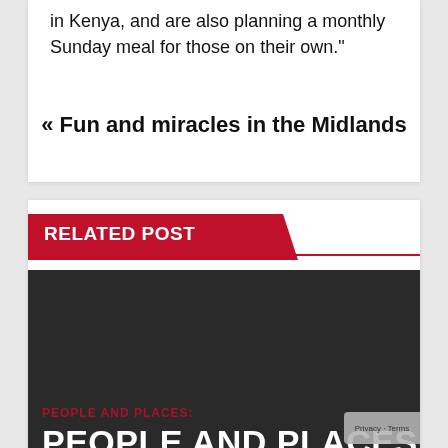in Kenya, and are also planning a monthly Sunday meal for those on their own."
« Fun and miracles in the Midlands
RELATED POST
[Figure (photo): Dark background with PEOPLE AND PLACES text overlay]
PEOPLE AND PLACES:
PEOPLE AND PLACES
By continuing to use the site, you agree to the use of cookies. View our GDPR / Privacy Policy more information
Accept
Privacy · Terms